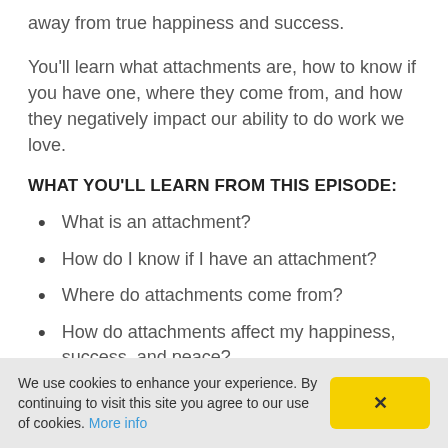away from true happiness and success.
You'll learn what attachments are, how to know if you have one, where they come from, and how they negatively impact our ability to do work we love.
WHAT YOU'LL LEARN FROM THIS EPISODE:
What is an attachment?
How do I know if I have an attachment?
Where do attachments come from?
How do attachments affect my happiness, success, and peace?
Can I be happy and successful while having attachments?
We use cookies to enhance your experience. By continuing to visit this site you agree to our use of cookies. More info